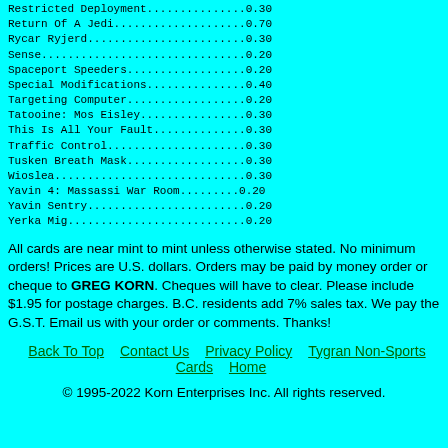Restricted Deployment...............0.30
Return Of A Jedi....................0.70
Rycar Ryjerd........................0.30
Sense...............................0.20
Spaceport Speeders..................0.20
Special Modifications...............0.40
Targeting Computer..................0.20
Tatooine: Mos Eisley................0.30
This Is All Your Fault..............0.30
Traffic Control.....................0.30
Tusken Breath Mask..................0.30
Wioslea.............................0.30
Yavin 4: Massassi War Room.........0.20
Yavin Sentry........................0.20
Yerka Mig...........................0.20
All cards are near mint to mint unless otherwise stated. No minimum orders! Prices are U.S. dollars. Orders may be paid by money order or cheque to GREG KORN. Cheques will have to clear. Please include $1.95 for postage charges. B.C. residents add 7% sales tax. We pay the G.S.T. Email us with your order or comments. Thanks!
Back To Top   Contact Us   Privacy Policy   Tygran Non-Sports Cards   Home
© 1995-2022 Korn Enterprises Inc. All rights reserved.